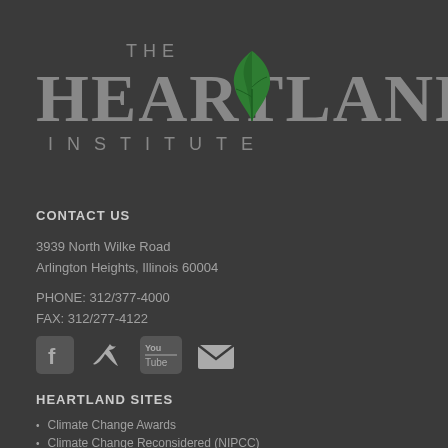[Figure (logo): The Heartland Institute logo with green oak leaf above text]
CONTACT US
3939 North Wilke Road
Arlington Heights, Illinois 60004
PHONE: 312/377-4000
FAX: 312/277-4122
[Figure (illustration): Social media icons: Facebook, Twitter, YouTube, Email]
HEARTLAND SITES
Climate Change Awards
Climate Change Reconsidered (NIPCC)
Climate Conf...